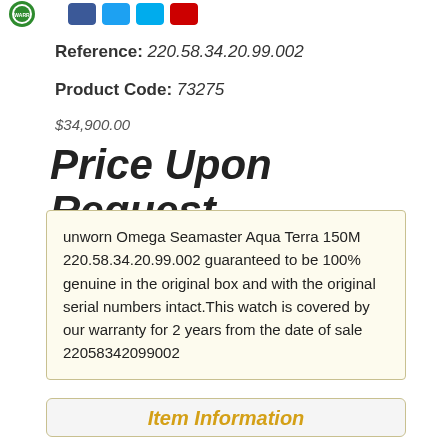[Figure (logo): Warranty badge seal (green circular) and social media icon buttons (blue, blue, teal, red)]
Reference: 220.58.34.20.99.002
Product Code: 73275
$34,900.00
Price Upon Request
unworn Omega Seamaster Aqua Terra 150M 220.58.34.20.99.002 guaranteed to be 100% genuine in the original box and with the original serial numbers intact.This watch is covered by our warranty for 2 years from the date of sale 22058342099002
Item Information